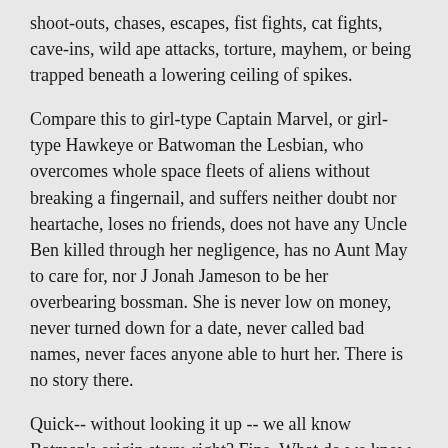shoot-outs, chases, escapes, fist fights, cat fights, cave-ins, wild ape attacks, torture, mayhem, or being trapped beneath a lowering ceiling of spikes.
Compare this to girl-type Captain Marvel, or girl-type Hawkeye or Batwoman the Lesbian, who overcomes whole space fleets of aliens without breaking a fingernail, and suffers neither doubt nor heartache, loses no friends, does not have any Uncle Ben killed through her negligence, has no Aunt May to care for, nor J Jonah Jameson to be her overbearing bossman. She is never low on money, never turned down for a date, never called bad names, never faces anyone able to hurt her. There is no story there.
Quick-- without looking it up -- we all know Batman's origin story, right? Fine. What do we know about Katie Kane the Batwoman, aside from her sexual orientation? Any parents killed by mobsters? Home planet of "batworld" blew up?